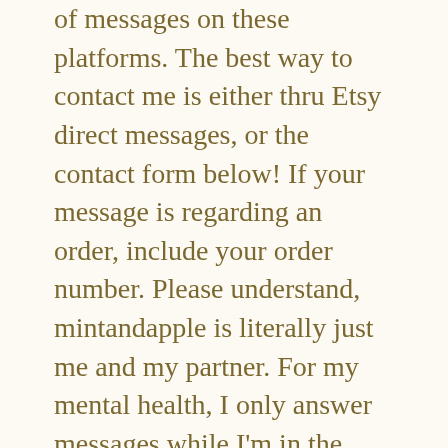of messages on these platforms. The best way to contact me is either thru Etsy direct messages, or the contact form below! If your message is regarding an order, include your order number. Please understand, mintandapple is literally just me and my partner. For my mental health, I only answer messages while I'm in the office, so it may take me several days to reply. While I can't provide perfect 24/7 customer service, I do read and reply to every message as honestly and wholeheartedly as I would if we were to meet in person. Even then, I still get a lot of messages; I'd really appreciate...